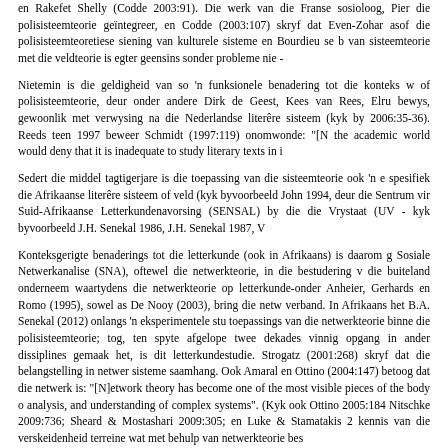en Rakefet Shelly (Codde 2003:91). Die werk van die Franse sosioloog, Pierre Bourdieu, is in die polisisteemteorie geïntegreer, en Codde (2003:107) skryf dat Even-Zohar gesien kan word asof die polisisteemteoretiese siening van kulturele sisteme en Bourdieu se b... van sisteemteorie met die veldteorie is egter geensins sonder probleme nie –
Nietemin is die geldigheid van so 'n funksionele benadering tot die konteks w... of polisisteemteorie, deur onder andere Dirk de Geest, Kees van Rees, Elru... bewys, gewoonlik met verwysing na die Nederlandse literêre sisteem (kyk by... 2006:35-36). Reeds teen 1997 beweer Schmidt (1997:119) onomwonde: "[N... the academic world would deny that it is inadequate to study literary texts in i
Sedert die middel tagtigerjare is die toepassing van die sisteemteorie ook 'n e... spesifiek die Afrikaanse literêre sisteem of veld (kyk byvoorbeeld John 1994,... deur die Sentrum vir Suid-Afrikaanse Letterkundenavorsing (SENSAL) by die... die Vrystaat (UV - kyk byvoorbeeld J.H. Senekal 1986, J.H. Senekal 1987, V...
Konteksgerigte benaderings tot die letterkunde (ook in Afrikaans) is daarom g... Sosiale Netwerkanalise (SNA), oftewel die netwerkteorie, in die bestudering v... die buiteland onderneem waartydens die netwerkteorie op letterkunde-onder... Anheier, Gerhards en Romo (1995), sowel as De Nooy (2003), bring die netw... verband. In Afrikaans het B.A. Senekal (2012) onlangs 'n eksperimentele stu... toepassings van die netwerkteorie binne die polisisteemteorie; tog, ten spyte... afgelope twee dekades vinnig opgang in ander dissiplines gemaak het, is dit... letterkundestudie. Strogatz (2001:268) skryf dat die belangstelling in netwer... sisteme saamhang. Ook Amaral en Ottino (2004:147) betoog dat die netwerk... is: "[N]etwork theory has become one of the most visible pieces of the body o... analysis, and understanding of complex systems". (Kyk ook Ottino 2005:184... Nitschke 2009:736; Sheard & Mostashari 2009:305; en Luke & Stamatakis 2... kennis van die verskeidenheid terreine wat met behulp van netwerkteorie bes...
Today the understanding of networks is a common goal of an unprece...